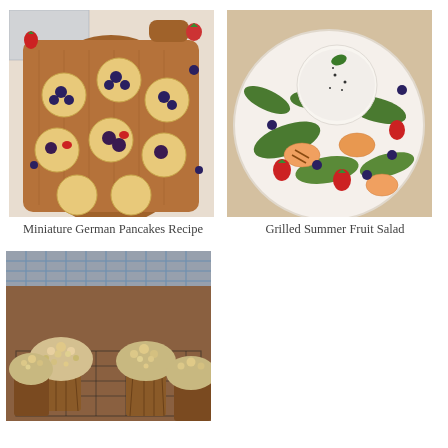[Figure (photo): Overhead view of miniature German pancakes (Dutch baby tarts) topped with blueberries, blackberries, and strawberries on a wooden cutting board, with fresh berries scattered around on a white cloth background]
Miniature German Pancakes Recipe
[Figure (photo): Overhead view of a grilled summer fruit salad with arugula, strawberries, blueberries, peaches, and a ball of fresh burrata cheese on a white plate]
Grilled Summer Fruit Salad
[Figure (photo): Close-up of blueberry streusel muffins in brown paper tulip-style wrappers on a wire cooling rack, with a blue checked cloth in the background]